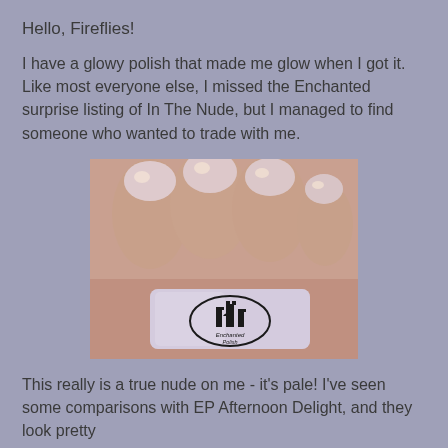Hello, Fireflies!
I have a glowy polish that made me glow when I got it.  Like most everyone else, I missed the Enchanted surprise listing of In The Nude, but I managed to find someone who wanted to trade with me.
[Figure (photo): Close-up photo of a hand holding a nail polish bottle labeled 'Enchanted Polish', showing nails painted with a pale, shimmery nude/white holographic polish.]
This really is a true nude on me - it's pale! I've seen some comparisons with EP Afternoon Delight, and they look pretty